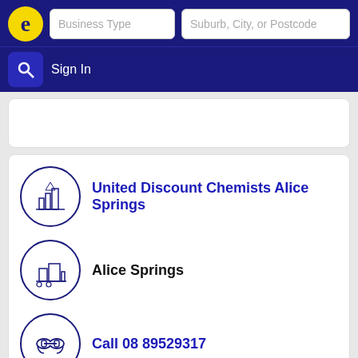Business Type | Suburb, City, or Postcode | Sign In
United Discount Chemists Alice Springs
Alice Springs
Call 08 89529317
Chemists - Retail Pharmacies
Coles Complex Shop 28 3 Bath St, Alice Springs -